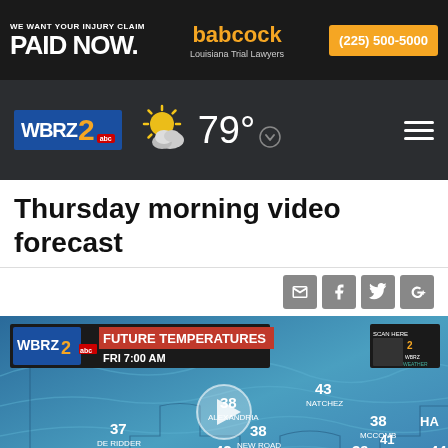[Figure (screenshot): Advertisement banner: 'WE WANT YOUR INJURY CLAIM PAID NOW.' babcock Louisiana Trial Lawyers (225) 500-5000]
[Figure (screenshot): WBRZ 2 ABC news navigation bar with partly cloudy weather icon showing 79 degrees and hamburger menu]
Thursday morning video forecast
[Figure (screenshot): WBRZ2 weather video thumbnail showing Future Temperatures map for Friday 7:00 AM with temperatures: Natchez 43, Alexandria 38, De Ridder 37, New Road 38, Opelousas 42, Baton Rouge 38, McComb 38, Bogal 41, Hammond 39, Gonzales 39, Lake Charles 40, Lafayette 41, New Orleans 41, Mobile 44, Morgan City 41. A female meteorologist stands in front of the map. Play button overlay visible.]